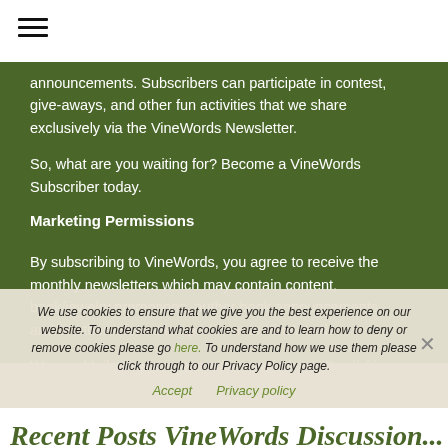[Figure (other): Hamburger menu icon with three horizontal lines]
announcements. Subscribers can participate in contest, give-aways, and other fun activities that we share exclusively via the VineWords Newsletter.
So, what are you waiting for? Become a VineWords Subscriber today.
Marketing Permissions
By subscribing to VineWords, you agree to receive the monthly newsletters which may contain content, book/jewelry promotions, author book announcements, and/or other information pertinent to VineWords.
We use Mailchimp as our marketing platform. By clicking below to subscribe, you acknowledge that your information will be transferred to Mailchimp for processing.
We use cookies to ensure that we give you the best experience on our website. To understand what cookies are and to learn how to deny or remove cookies please go here. To understand how we use them please click through to our Privacy Policy page.
Accept   Privacy policy
Recent Posts VineWords Discussion...